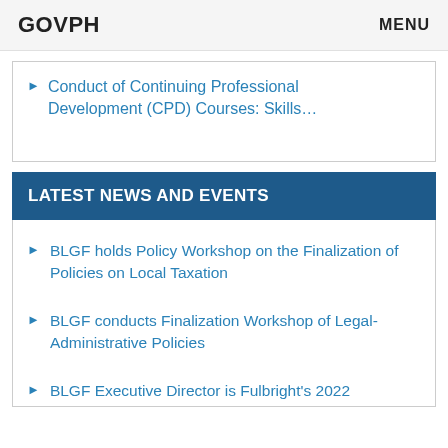GOVPH   MENU
Conduct of Continuing Professional Development (CPD) Courses: Skills…
LATEST NEWS AND EVENTS
BLGF holds Policy Workshop on the Finalization of Policies on Local Taxation
BLGF conducts Finalization Workshop of Legal-Administrative Policies
BLGF Executive Director is Fulbright's 2022